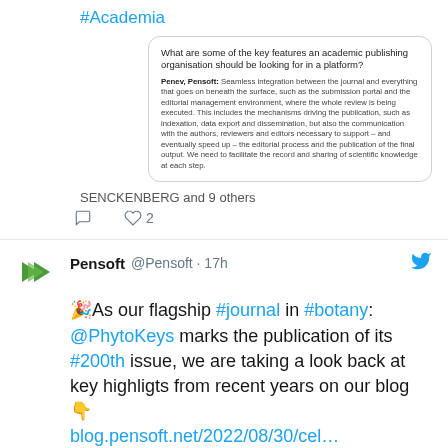#Academia
[Figure (screenshot): Quote card with question about academic publishing platform features and answer from Pensoft]
SENCKENBERG and 9 others
comment icon, heart icon 2
Pensoft @Pensoft · 17h
🎉As our flagship #journal in #botany: @PhytoKeys marks the publication of its #200th issue, we are taking a look back at key highligts from recent years on our blog 👇 blog.pensoft.net/2022/08/30/cel… #PlantScience #Taxonomy #Systematics @SandyKnapp @ARPHAplatform
[Figure (screenshot): Preview card showing blog.pensoft.net with pink flower image and title Celebrating excellence in plant systematics]